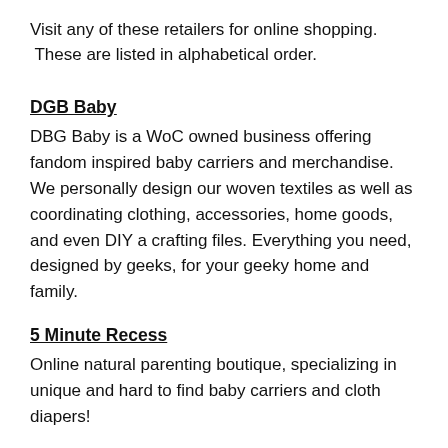Visit any of these retailers for online shopping. These are listed in alphabetical order.
DGB Baby
DBG Baby is a WoC owned business offering fandom inspired baby carriers and merchandise. We personally design our woven textiles as well as coordinating clothing, accessories, home goods, and even DIY a crafting files. Everything you need, designed by geeks, for your geeky home and family.
5 Minute Recess
Online natural parenting boutique, specializing in unique and hard to find baby carriers and cloth diapers!